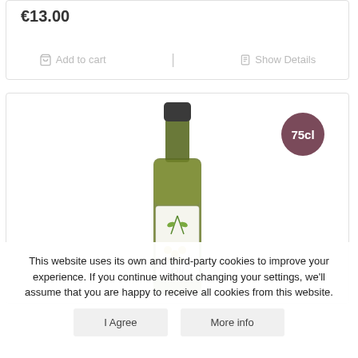€13.00
Add to cart
Show Details
[Figure (photo): A dark glass bottle of olive oil with a label reading 'Oli', featuring green olive branch illustration, with a '75cl' badge in dark maroon circle in the top right]
This website uses its own and third-party cookies to improve your experience. If you continue without changing your settings, we'll assume that you are happy to receive all cookies from this website.
I Agree
More info